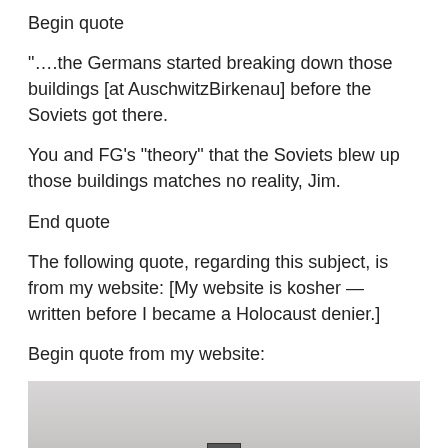Begin quote
“….the Germans started breaking down those buildings [at AuschwitzBirkenau] before the Soviets got there.
You and FG’s “theory” that the Soviets blew up those buildings matches no reality, Jim.
End quote
The following quote, regarding this subject, is from my website: [My website is kosher — written before I became a Holocaust denier.]
Begin quote from my website:
[Figure (photo): Black and white photograph, partially visible, showing a distant structure or building in a flat landscape.]